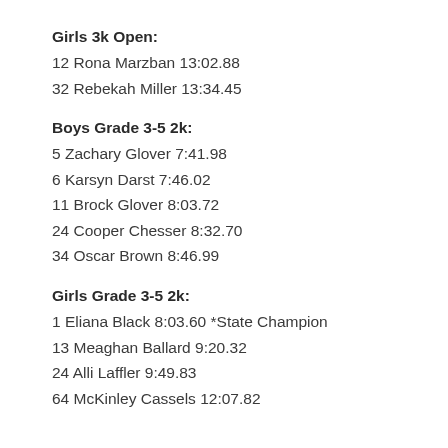Girls 3k Open:
12 Rona Marzban 13:02.88
32 Rebekah Miller 13:34.45
Boys Grade 3-5 2k:
5 Zachary Glover 7:41.98
6 Karsyn Darst 7:46.02
11 Brock Glover 8:03.72
24 Cooper Chesser 8:32.70
34 Oscar Brown 8:46.99
Girls Grade 3-5 2k:
1 Eliana Black 8:03.60 *State Champion
13 Meaghan Ballard 9:20.32
24 Alli Laffler 9:49.83
64 McKinley Cassels 12:07.82